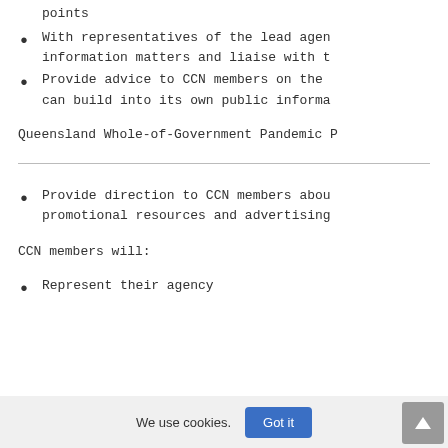points
With representatives of the lead agen information matters and liaise with t
Provide advice to CCN members on the can build into its own public informa
Queensland Whole-of-Government Pandemic P
Provide direction to CCN members abou promotional resources and advertising
CCN members will:
Represent their agency